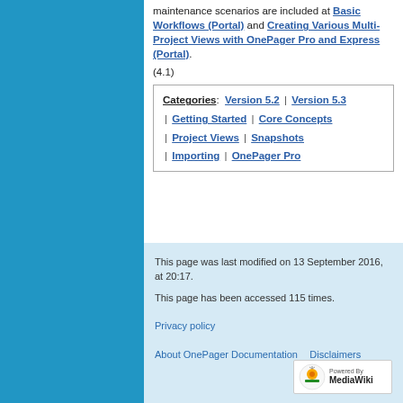maintenance scenarios are included at Basic Workflows (Portal) and Creating Various Multi-Project Views with OnePager Pro and Express (Portal).
(4.1)
| Categories: Version 5.2 | Version 5.3 | Getting Started | Core Concepts | Project Views | Snapshots | Importing | OnePager Pro |
This page was last modified on 13 September 2016, at 20:17.
This page has been accessed 115 times.
Privacy policy
About OnePager Documentation   Disclaimers